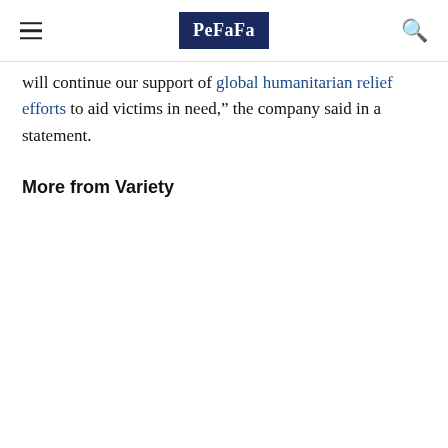PeFaFa
will continue our support of global humanitarian relief efforts to aid victims in need,” the company said in a statement.
More from Variety